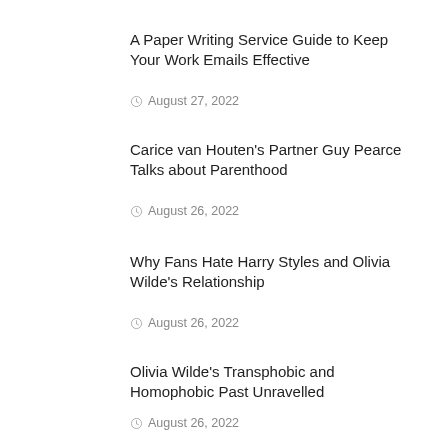A Paper Writing Service Guide to Keep Your Work Emails Effective
August 27, 2022
Carice van Houten's Partner Guy Pearce Talks about Parenthood
August 26, 2022
Why Fans Hate Harry Styles and Olivia Wilde's Relationship
August 26, 2022
Olivia Wilde's Transphobic and Homophobic Past Unravelled
August 26, 2022